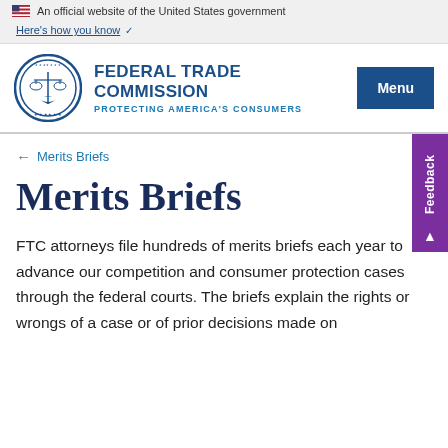An official website of the United States government
Here's how you know
FEDERAL TRADE COMMISSION PROTECTING AMERICA'S CONSUMERS
← Merits Briefs
Merits Briefs
FTC attorneys file hundreds of merits briefs each year to advance our competition and consumer protection cases through the federal courts. The briefs explain the rights or wrongs of a case or of prior decisions made on